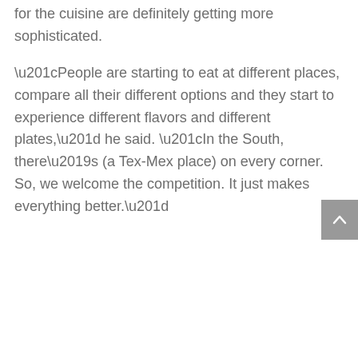for the cuisine are definitely getting more sophisticated.
“People are starting to eat at different places, compare all their different options and they start to experience different flavors and different plates,” he said. “In the South, there’s (a Tex-Mex place) on every corner. So, we welcome the competition. It just makes everything better.”